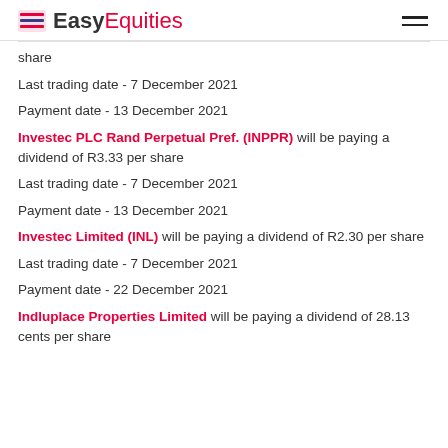EasyEquities
share
Last trading date - 7 December 2021
Payment date - 13 December 2021
Investec PLC Rand Perpetual Pref. (INPPR) will be paying a dividend of R3.33 per share
Last trading date - 7 December 2021
Payment date - 13 December 2021
Investec Limited (INL) will be paying a dividend of R2.30 per share
Last trading date - 7 December 2021
Payment date - 22 December 2021
Indluplace Properties Limited will be paying a dividend of 28.13 cents per share